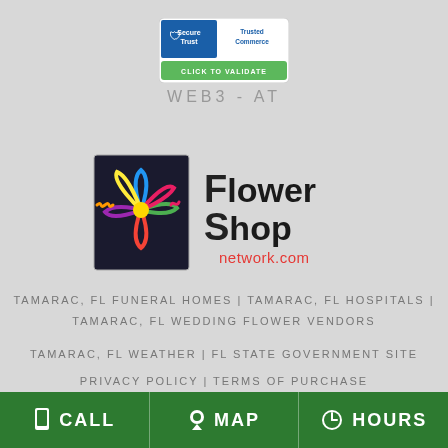[Figure (logo): SecureTrust Trusted Commerce badge with 'CLICK TO VALIDATE' button in green]
WEB3 - AT
[Figure (logo): Flower Shop Network .com logo with colorful flower graphic on left and text on right]
TAMARAC, FL FUNERAL HOMES | TAMARAC, FL HOSPITALS | TAMARAC, FL WEDDING FLOWER VENDORS
TAMARAC, FL WEATHER | FL STATE GOVERNMENT SITE
PRIVACY POLICY | TERMS OF PURCHASE
CALL   MAP   HOURS